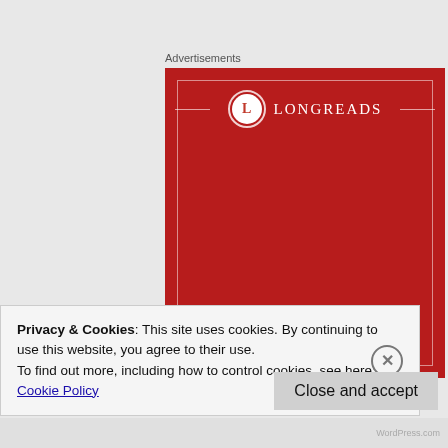Advertisements
[Figure (illustration): Longreads advertisement banner on red background with logo (circle with L and LONGREADS text), decorative inner border, and text 'The best stories on the web – ours']
Privacy & Cookies: This site uses cookies. By continuing to use this website, you agree to their use.
To find out more, including how to control cookies, see here:
Cookie Policy
Close and accept